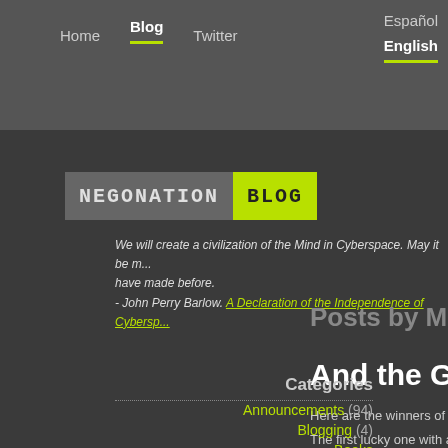Home | Blog | Twitter | Español | English
[Figure (logo): Negonation Blog logo — grey box with NEGONATION text and green box with BLOG text]
We will create a civilization of the Mind in Cyberspace. May it be more humane and fair than the world your governments have made before. - John Perry Barlow. A Declaration of the Independence of Cyberspace
Posts by Mano
And the Glider
Here are the winners of the se
The first lucky one with a prize
Categories
Announcements (94)
Blogging (4)
Books